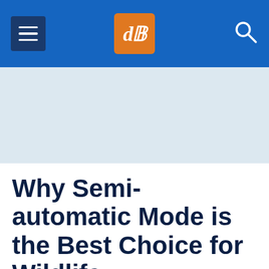dPS - Why Semi-automatic Mode is the Best Choice for Wildlife Photography
[Figure (screenshot): Light blue advertisement banner placeholder area]
Why Semi-automatic Mode is the Best Choice for Wildlife Photography